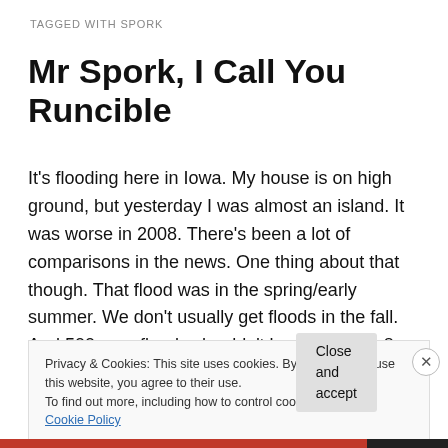TAGGED WITH SPORK
Mr Spork, I Call You Runcible
It's flooding here in Iowa. My house is on high ground, but yesterday I was almost an island. It was worse in 2008. There's been a lot of comparisons in the news. One thing about that though. That flood was in the spring/early summer. We don't usually get floods in the fall. And 500 year floods shouldn't be happening 8 years apart.
Privacy & Cookies: This site uses cookies. By continuing to use this website, you agree to their use.
To find out more, including how to control cookies, see here: Cookie Policy